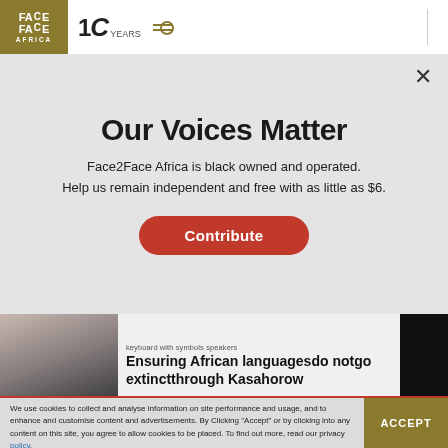Face2Face Africa – 10 Years
Our Voices Matter
Face2Face Africa is black owned and operated. Help us remain independent and free with as little as $6.
Contribute
keyboard with symbols speakers
Ensuring African languagesdo notgo extinctthrough Kasahorow
We use cookies to collect and analyse information on site performance and usage, and to enhance and customise content and advertisements. By Clicking "Accept" or by clicking into any content on this site, you agree to allow cookies to be placed. To find out more, read our privacy policy.
ACCEPT